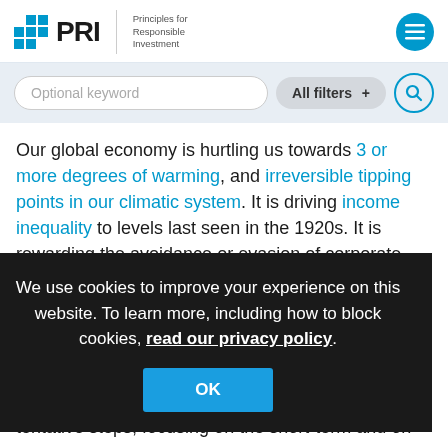PRI – Principles for Responsible Investment
Optional keyword | All filters + [search icon]
Our global economy is hurtling us towards 3 or more degrees of warming, and irreversible tipping points in our climatic system. It is driving income inequality to levels last seen in the 1920s. It is rewarding the avoidance or evasion of corporate tax, and funding – using what is ultimately be[hind the cookie overlay] w[...] in[...]
We use cookies to improve your experience on this website. To learn more, including how to block cookies, read our privacy policy.
OK
Th[...] in[...] ha[...] tentative steps, focusing on the short-term and on